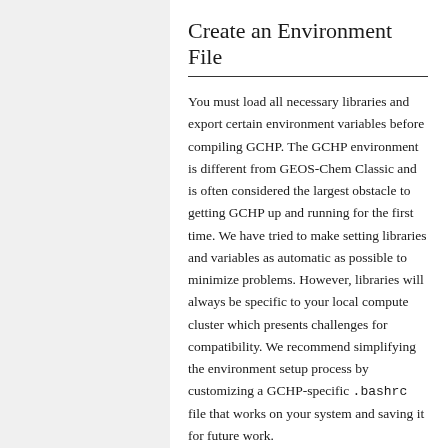Create an Environment File
You must load all necessary libraries and export certain environment variables before compiling GCHP. The GCHP environment is different from GEOS-Chem Classic and is often considered the largest obstacle to getting GCHP up and running for the first time. We have tried to make setting libraries and variables as automatic as possible to minimize problems. However, libraries will always be specific to your local compute cluster which presents challenges for compatibility. We recommend simplifying the environment setup process by customizing a GCHP-specific .bashrc file that works on your system and saving it for future work.